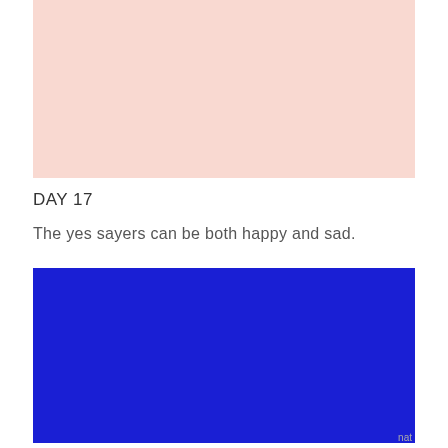[Figure (illustration): Solid light pink/blush colored rectangle block]
DAY 17
The yes sayers can be both happy and sad.
[Figure (illustration): Solid bright blue colored rectangle block]
nat